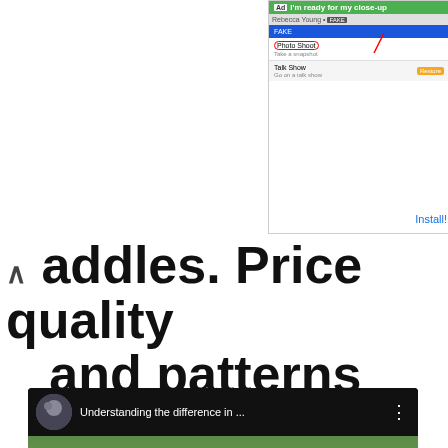[Figure (screenshot): Advertisement banner showing 'I'm ready for my close-up' ad with BitLife app icon and Install! link]
addles. Price quality and patterns
[Figure (screenshot): YouTube video thumbnail showing 'Understanding the difference in ...' with two people discussing saddles outdoors, with a play button overlay and a coffee/tip button]